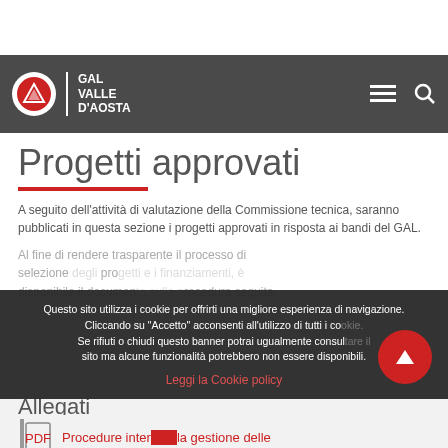[Figure (logo): GAL Valle d'Aosta logo with mountain circle icon on dark grey navigation bar]
Progetti approvati
A seguito dell'attività di valutazione della Commissione tecnica, saranno pubblicati in questa sezione i progetti approvati in risposta ai bandi del GAL.
Al fine di rendere trasparente il processo di selezione degli progetti e i finanziamenti, è disponibile il documento sulla procedura seguita.
Questo sito utilizza i cookie per offrirti una migliore esperienza di navigazione. Cliccando su "Accetto" acconsenti all'utilizzo di tutti i cookie. Se rifiuti o chiudi questo banner potrai ugualmente consultare il sito ma alcune funzionalità potrebbero non essere disponibili.
Leggi la Cookie policy
Allegati
Procedure interne la gestione delle